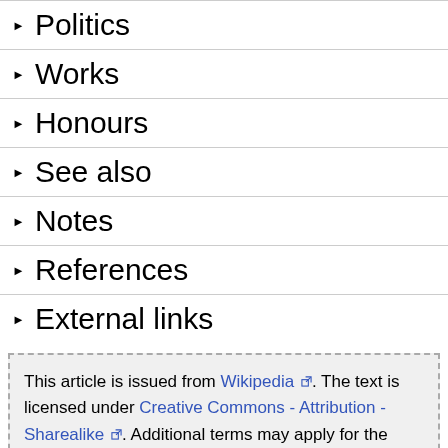▶ Politics
▶ Works
▶ Honours
▶ See also
▶ Notes
▶ References
▶ External links
This article is issued from Wikipedia. The text is licensed under Creative Commons - Attribution - Sharealike. Additional terms may apply for the media files.